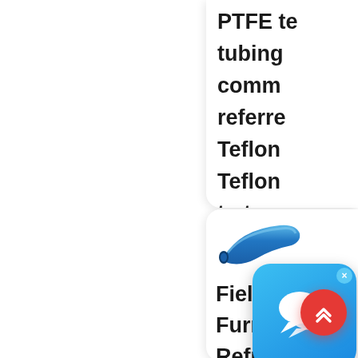PTFE te tubing comm referre Teflon Teflon to t flu
[Figure (illustration): Blue messaging/chat app popup icon with speech bubbles on gradient blue background, with X close button]
[Figure (photo): Blue flexible tubing/hose piece shown at an angle]
Field Furnac Refrac
Becau the lo
[Figure (illustration): Red circular scroll-to-top button with double chevron up arrow]